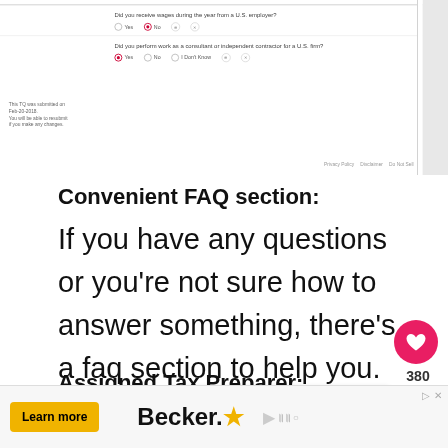[Figure (screenshot): Screenshot of a tax questionnaire web form showing two questions: 'Did you receive wages during the year from a U.S. employer?' with No selected, and 'Did you perform work as a consultant or independent contractor for a U.S. firm?' with Yes selected. Side note: 'This TQ was submitted on Feb-20-2018. You will be able to resubmit if you make any changes.' Footer links: Privacy Policy, Disclaimer, Do Not Sell.]
Convenient FAQ section:
If you have any questions or you’re not sure how to answer something, there’s a faq section to help you.
Assigned Tax Preparer:
[Figure (screenshot): Partially visible UI panel below the Assigned Tax Preparer heading — appears to be a white box/card, mostly cut off.]
[Figure (infographic): Social interaction buttons: pink heart button with 380 likes count, and a share button below it.]
[Figure (infographic): What's Next panel showing a US flag circle icon and text: WHAT'S NEXT → YES! Americans...]
[Figure (screenshot): Advertisement banner at the bottom: Learn more button in yellow, Becker. logo, and play icon on the right.]